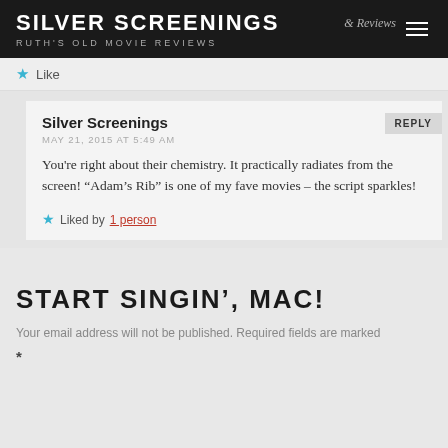SILVER SCREENINGS
RUTH'S OLD MOVIE REVIEWS
Like
Silver Screenings
MAY 21, 2015 AT 5:49 AM
You're right about their chemistry. It practically radiates from the screen! “Adam’s Rib” is one of my fave movies – the script sparkles!
Liked by 1 person
START SINGIN', MAC!
Your email address will not be published. Required fields are marked *